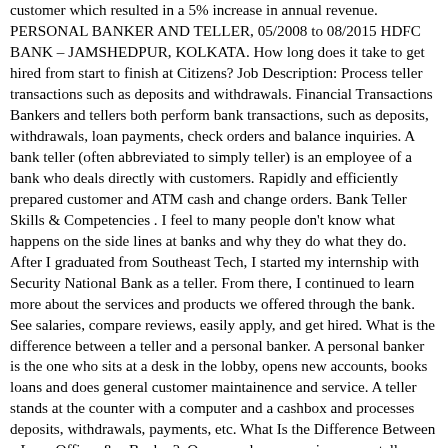customer which resulted in a 5% increase in annual revenue. PERSONAL BANKER AND TELLER, 05/2008 to 08/2015 HDFC BANK – JAMSHEDPUR, KOLKATA. How long does it take to get hired from start to finish at Citizens? Job Description: Process teller transactions such as deposits and withdrawals. Financial Transactions Bankers and tellers both perform bank transactions, such as deposits, withdrawals, loan payments, check orders and balance inquiries. A bank teller (often abbreviated to simply teller) is an employee of a bank who deals directly with customers. Rapidly and efficiently prepared customer and ATM cash and change orders. Bank Teller Skills & Competencies . I feel to many people don't know what happens on the side lines at banks and why they do what they do. After I graduated from Southeast Tech, I started my internship with Security National Bank as a teller. From there, I continued to learn more about the services and products we offered through the bank. See salaries, compare reviews, easily apply, and get hired. What is the difference between a teller and a personal banker. A personal banker is the one who sits at a desk in the lobby, opens new accounts, books loans and does general customer maintainence and service. A teller stands at the counter with a computer and a cashbox and processes deposits, withdrawals, payments, etc. What Is the Difference Between a Loan Officer & a Banker?. Once you have experience as a teller, you could apply for a personal banker position with that. A relationship banker, also called a personal banker, sells financial services and handles a client's relationship with a bank. Normally, a bank teller handles routine transactions and personal bankers focus on more complex jobs like: giving customer service and … Job Title: Personal Banker / Teller. Excellent communication and problem-solving skills. What tips or advice would you give to someone interviewing at